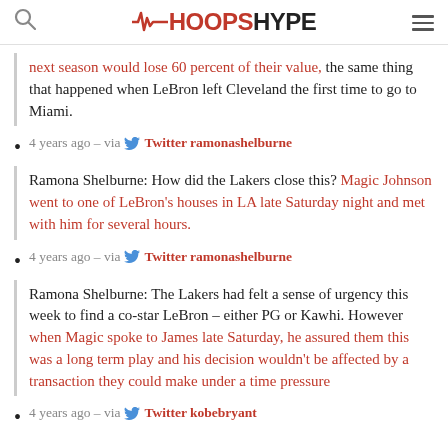HOOPSHYPE
next season would lose 60 percent of their value, the same thing that happened when LeBron left Cleveland the first time to go to Miami.
4 years ago – via Twitter ramonashelburne
Ramona Shelburne: How did the Lakers close this? Magic Johnson went to one of LeBron's houses in LA late Saturday night and met with him for several hours.
4 years ago – via Twitter ramonashelburne
Ramona Shelburne: The Lakers had felt a sense of urgency this week to find a co-star LeBron – either PG or Kawhi. However when Magic spoke to James late Saturday, he assured them this was a long term play and his decision wouldn't be affected by a transaction they could make under a time pressure
4 years ago – via Twitter kobebryant